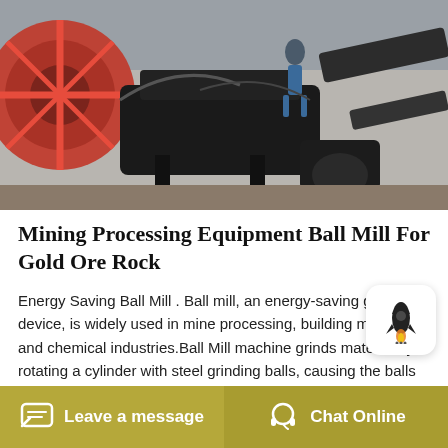[Figure (photo): Industrial mining equipment photo showing ball mill machinery with red and black components, workers visible in background, outdoor industrial setting.]
Mining Processing Equipment Ball Mill For Gold Ore Rock
Energy Saving Ball Mill . Ball mill, an energy-saving grinding device, is widely used in mine processing, building materials and chemical industries.Ball Mill machine grinds material by rotating a cylinder with steel grinding balls, causing the balls to fall back into the Ball Mill,Mqz Ball Mill China Supplier,Walker Mining. Ball mill is suitable for grinding all kinds of ores and other
Leave a message   Chat Online